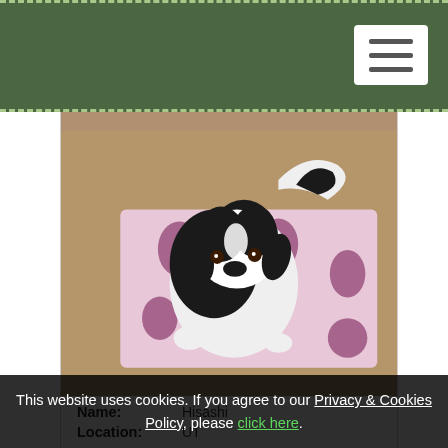[Figure (photo): A black and white Japanese Chin dog sitting on a purple and cream patterned decorative pillow/mat on a brown carpet floor, viewed from above.]
Name: Hisashi
Location: UT
This website uses cookies. If you agree to our Privacy & Cookies Policy, please click here.